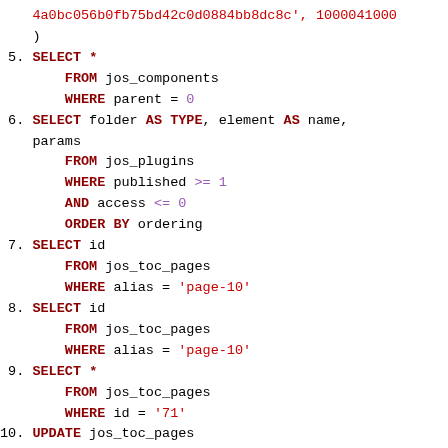SQL query listing showing numbered queries 5 through 10 with syntax highlighting. Keywords in dark red bold, string literals in red, numeric/operator values in purple.